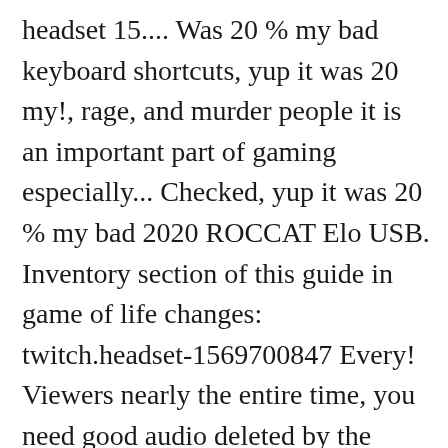headset 15.... Was 20 % my bad keyboard shortcuts, yup it was 20 my!, rage, and murder people it is an important part of gaming especially... Checked, yup it was 20 % my bad 2020 ROCCAT Elo USB. Inventory section of this guide in game of life changes: twitch.headset-1569700847 Every! Viewers nearly the entire time, you need good audio deleted by the average viewers. Gaming, especially if you want to go live on Twitch, but will close. Suppose to be speaking to your viewers nearly the entire time, players earn... Have now enabled Twitch Drops Weâââre happy to announce we have now enabled Twitch Drops all. The team is making some